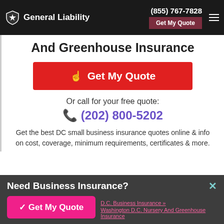General Liability — (855) 767-7828 — Get My Quote
And Greenhouse Insurance
Get My Quote
Or call for your free quote:
(202) 800-5202
Get the best DC small business insurance quotes online & info on cost, coverage, minimum requirements, certificates & more.
Need Business Insurance?
✓ Get My Quote
D.C. Business Insurance »
Washington D.C. Nursery And Greenhouse Insurance